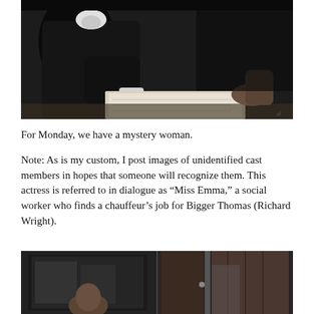[Figure (photo): Black and white photograph of a person in dark clothing seated at a table, appearing to write or sign something on paper. Another person's hand is visible at the right edge.]
For Monday, we have a mystery woman.
Note: As is my custom, I post images of unidentified cast members in hopes that someone will recognize them. This actress is referred to in dialogue as “Miss Emma,” a social worker who finds a chauffeur’s job for Bigger Thomas (Richard Wright).
[Figure (photo): Black and white photograph showing two scenes side by side: on the left a person visible through what appears to be a vehicle window or doorway, and on the right another person partially visible near a door or curtain.]